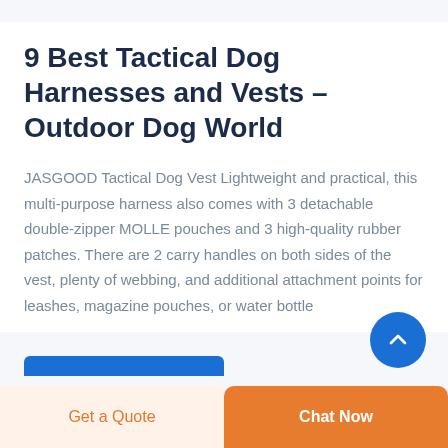9 Best Tactical Dog Harnesses and Vests - Outdoor Dog World
JASGOOD Tactical Dog Vest Lightweight and practical, this multi-purpose harness also comes with 3 detachable double-zipper MOLLE pouches and 3 high-quality rubber patches. There are 2 carry handles on both sides of the vest, plenty of webbing, and additional attachment points for leashes, magazine pouches, or water bottle
Get a Quote   Chat Now